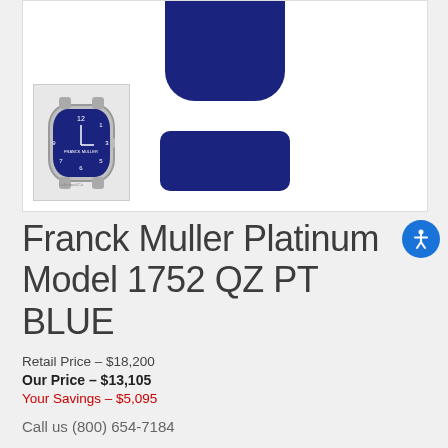[Figure (photo): Franck Muller watch with blue leather strap and blue dial, showing main view (strap top/bottom) and a thumbnail of the full watch face. Accessibility button visible.]
Franck Muller Platinum Model 1752 QZ PT BLUE
Retail Price – $18,200
Our Price – $13,105
Your Savings – $5,095
Call us (800) 654-7184